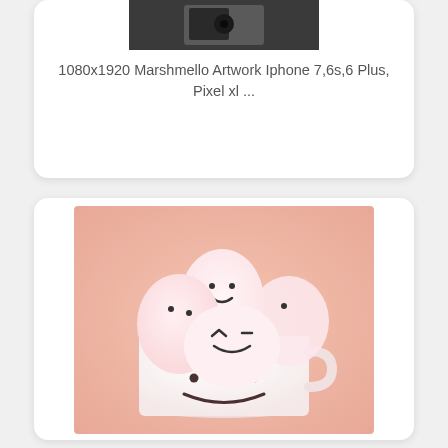[Figure (photo): Partially visible photo of a person (Marshmello artwork) at top of first card]
1080x1920 Marshmello Artwork Iphone 7,6s,6 Plus, Pixel xl ...
[Figure (photo): Photo of a cute white mug with a smiley face filled with pink marshmallows that also have drawn-on faces]